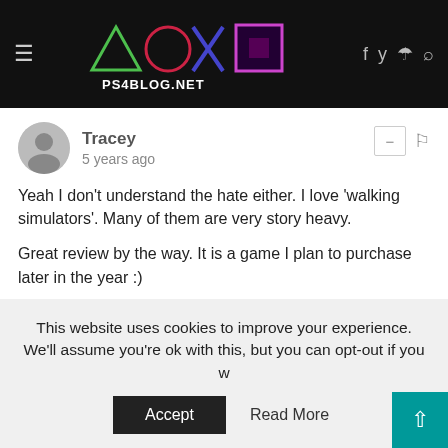[Figure (logo): PS4Blog.net website header with logo showing PlayStation symbols (triangle, circle, X, square) and site name PS4BLOG.NET, alongside hamburger menu, social icons (Facebook, Twitter, RSS, Search)]
Tracey
5 years ago
Yeah I don't understand the hate either. I love 'walking simulators'. Many of them are very story heavy.

Great review by the way. It is a game I plan to purchase later in the year :)
^ | v Reply
✉ Subscribe   ◉ Add Disqus   ▲ Do Not Sell My Data   DISQUS
This website uses cookies to improve your experience. We'll assume you're ok with this, but you can opt-out if you w
Accept   Read More